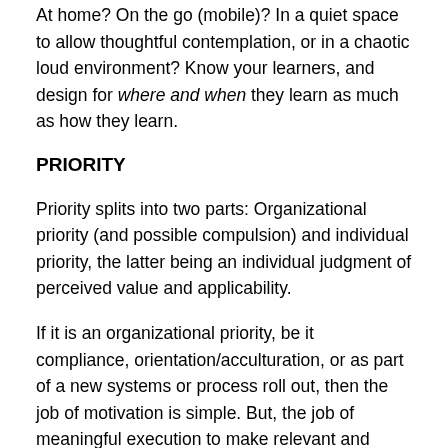At home? On the go (mobile)? In a quiet space to allow thoughtful contemplation, or in a chaotic loud environment? Know your learners, and design for where and when they learn as much as how they learn.
PRIORITY
Priority splits into two parts: Organizational priority (and possible compulsion) and individual priority, the latter being an individual judgment of perceived value and applicability.
If it is an organizational priority, be it compliance, orientation/acculturation, or as part of a new systems or process roll out, then the job of motivation is simple. But, the job of meaningful execution to make relevant and applicable is pressure-packed for the instructional design and training team: It better be good, engaging, and fun, or